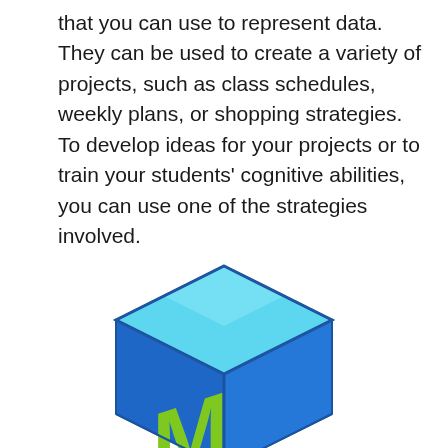that you can use to represent data. They can be used to create a variety of projects, such as class schedules, weekly plans, or shopping strategies. To develop ideas for your projects or to train your students' cognitive abilities, you can use one of the strategies involved.
[Figure (logo): 3D blue cube logo with green 'M' on the left face and orange 'M' on the right face, with 'Crackeyfree.Com' text below in bold black]